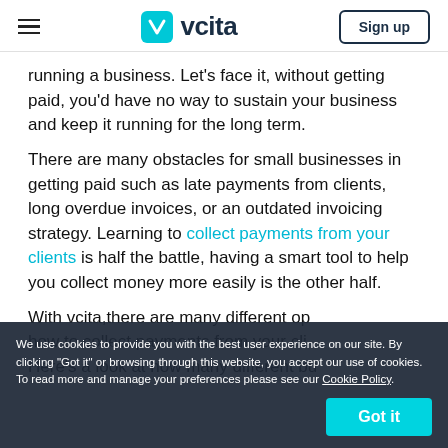vcita — Sign up
running a business. Let's face it, without getting paid, you'd have no way to sustain your business and keep it running for the long term.
There are many obstacles for small businesses in getting paid such as late payments from clients, long overdue invoices, or an outdated invoicing strategy. Learning to collect payments from your clients is half the battle, having a smart tool to help you collect money more easily is the other half.
With vcita,there are many different options on how to collect payments from your clients. Here's a look at how many different business...
We use cookies to provide you with the best user experience on our site. By clicking "Got it" or browsing through this website, you accept our use of cookies. To read more and manage your preferences please see our Cookie Policy.